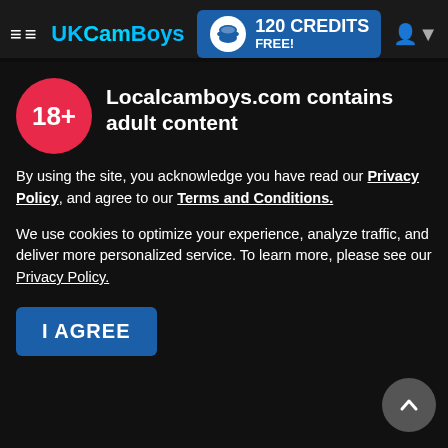[Figure (screenshot): UKCamBoys website navigation bar with hamburger menu, brand logo in blue, 120 Credits Free banner in blue, and user icon]
Extras
Get 120 Free Credits
Bookmark Us
Brought to you by VS Media, Inc. Westlake Village, CA, United States
FPE s.r.o. (Reg. 06483453 | Vodickova 791/41 Nove Mesto, 110 00 Praha 1, Czech Republic
Localcamboys.com contains adult content
By using the site, you acknowledge you have read our Privacy Policy, and agree to our Terms and Conditions.
We use cookies to optimize your experience, analyze traffic, and deliver more personalized service. To learn more, please see our Privacy Policy.
[Figure (other): I AGREE button in blue, VISA logo, Mastercard logo, and back-to-top arrow button]